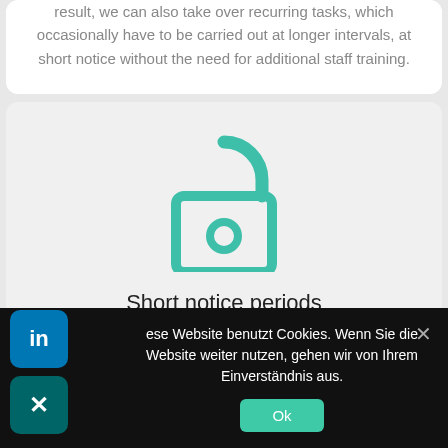result, we can also take over recurring tasks, which occasionally have to be carried out at longer intervals, at short notice without the need for additional staff training.
[Figure (illustration): Teal/green open padlock icon — the shackle is open (arced line on top right), the body is a rounded rectangle with a circular keyhole in the center.]
Short notice periods
If activities are not already limited in time, customer-specific
ese Website benutzt Cookies. Wenn Sie die Website weiter nutzen, gehen wir von Ihrem Einverständnis aus.
Ok